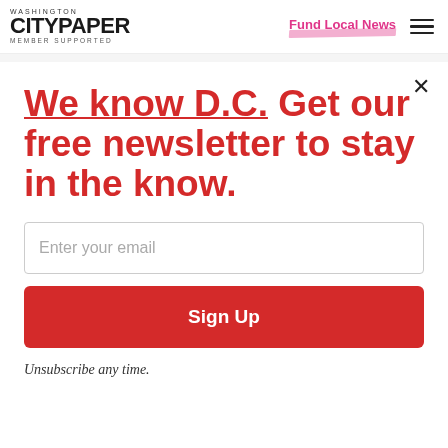WASHINGTON CITYPAPER MEMBER SUPPORTED | Fund Local News
Speechless
We know D.C. Get our free newsletter to stay in the know.
Enter your email
Sign Up
Unsubscribe any time.